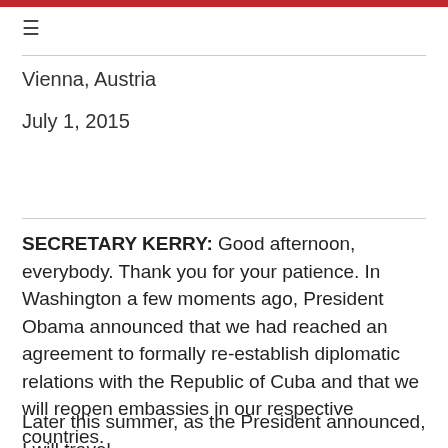≡
Vienna, Austria
July 1, 2015
SECRETARY KERRY: Good afternoon, everybody. Thank you for your patience. In Washington a few moments ago, President Obama announced that we had reached an agreement to formally re-establish diplomatic relations with the Republic of Cuba and that we will reopen embassies in our respective countries.
Later this summer, as the President announced, I will travel